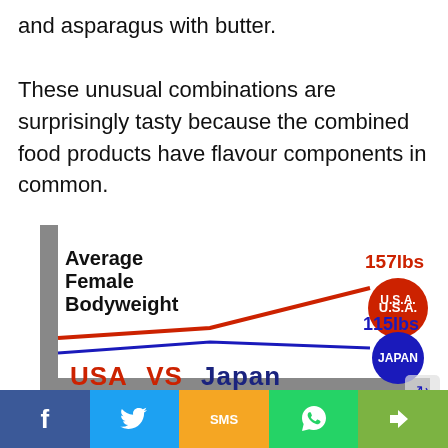and asparagus with butter.

These unusual combinations are surprisingly tasty because the combined food products have flavour components in common.
[Figure (line-chart): Average Female Bodyweight]
USA VS Japan
f  [Twitter]  SMS  [WhatsApp]  [Share]